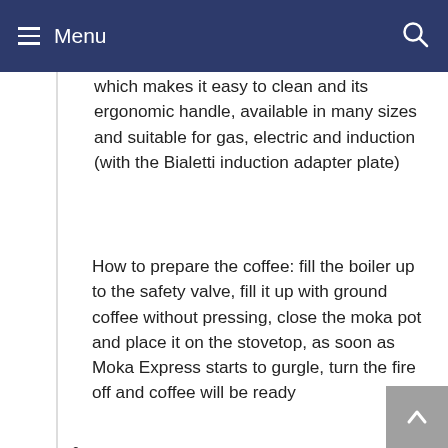Menu
which makes it easy to clean and its ergonomic handle, available in many sizes and suitable for gas, electric and induction (with the Bialetti induction adapter plate)
How to prepare the coffee: fill the boiler up to the safety valve, fill it up with ground coffee without pressing, close the moka pot and place it on the stovetop, as soon as Moka Express starts to gurgle, turn the fire off and coffee will be ready
One size for each need: Moka Express sizes are measured in Espresso Cups, coffee can be enjoyed in Espresso Cups or in larger containers
Cleaning instructions: The Bialetti Moka Express must only be rinsed with clean water after use, with no detergents, the product is